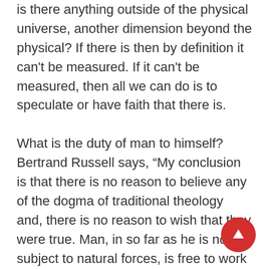is there anything outside of the physical universe, another dimension beyond the physical? If there is then by definition it can't be measured. If it can't be measured, then all we can do is to speculate or have faith that there is.
What is the duty of man to himself? Bertrand Russell says, “My conclusion is that there is no reason to believe any of the dogma of traditional theology and, there is no reason to wish that they were true. Man, in so far as he is not subject to natural forces, is free to work out his own destiny. The responsibility is his, and so is the opportunity.”
The ultimate authority must always rest with the individual’s own reason, judgment, conscious, a thoughtful process. When mind is free to deconstruct myths there is no need for temples.